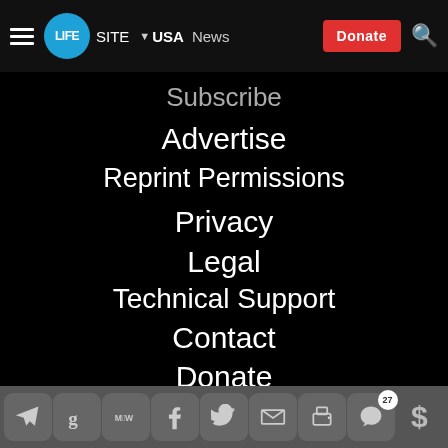LifeSite | USA | News | Donate
Subscribe
Advertise
Reprint Permissions
Privacy
Legal
Technical Support
Contact
Donate
[Figure (screenshot): Row of social media icons: email, Facebook, Twitter, Instagram, Telegram, Gab, YouTube]
Bottom toolbar with Telegram, Gab, MeWe, Facebook, Twitter, Email, Print, Comments (27), Dollar sign icons